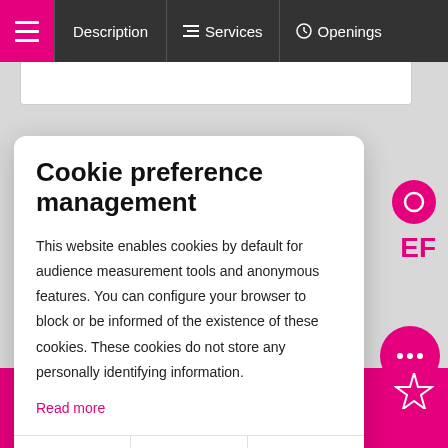☰  Description  ☰ Services  ⊙ Openings
Cookie preference management
This website enables cookies by default for audience measurement tools and anonymous features. You can configure your browser to block or be informed of the existence of these cookies. These cookies do not store any personally identifying information.
Read more
No thanks
I choose
Ok for me